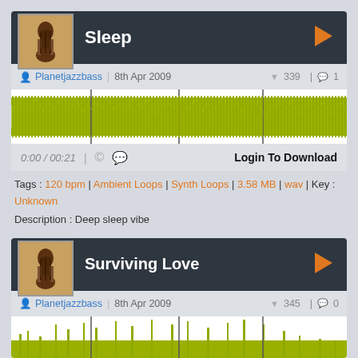Sleep
Planetjazzbass | 8th Apr 2009 | 339 | 1
[Figure (continuous-plot): Audio waveform visualization for Sleep track, yellow-green color]
0:00 / 00:21 | Login To Download
Tags : 120 bpm | Ambient Loops | Synth Loops | 3.58 MB | wav | Key : Unknown
Description : Deep sleep vibe
Surviving Love
Planetjazzbass | 8th Apr 2009 | 345 | 0
[Figure (continuous-plot): Audio waveform visualization for Surviving Love track, yellow-green color]